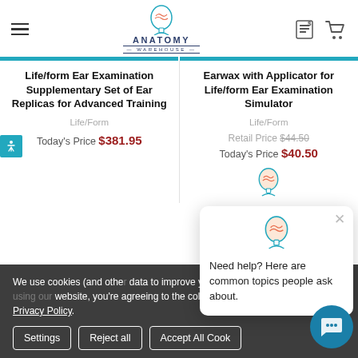Anatomy Warehouse — header with hamburger menu, logo, account icon, cart icon
Life/form Ear Examination Supplementary Set of Ear Replicas for Advanced Training
Life/Form
Today's Price $381.95
Earwax with Applicator for Life/form Ear Examination Simulator
Life/Form
Retail Price $44.50
Today's Price $40.50
Need help? Here are common topics people ask about.
We use cookies (and other data to improve your shopping experience. By using our website, you're agreeing to the collection of data as described in our Privacy Policy.
Settings | Reject all | Accept All Cookies